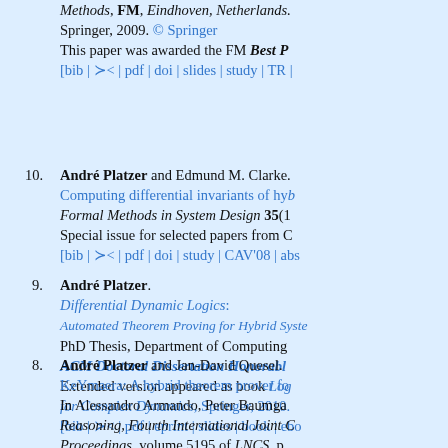Methods, FM, Eindhoven, Netherlands. Springer, 2009. © Springer. This paper was awarded the FM Best P... [bib | ≻< | pdf | doi | slides | study | TR | ...]
10. André Platzer and Edmund M. Clarke. Computing differential invariants of hybrid... Formal Methods in System Design 35(1)... Special issue for selected papers from C... [bib | ≻< | pdf | doi | study | CAV'08 | abs...]
9. André Platzer. Differential Dynamic Logics: Automated Theorem Proving for Hybrid Systems. PhD Thesis, Department of Computing... ACM Doctoral Dissertation Honorable... Extended version appeared as book Log... for Complex Dynamics, Springer, 2010. [bib | ≻< | pdf | eprint | slides | book | ebo...]
8. André Platzer and Jan-David Quesel. KeYmaera: A hybrid theorem prover fo... In Alessandro Armando, Peter Baumga... Reasoning, Fourth International Joint C... Proceedings, volume 5195 of LNCS, p...